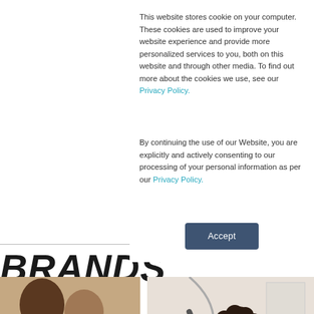This website stores cookie on your computer. These cookies are used to improve your website experience and provide more personalized services to you, both on this website and through other media. To find out more about the cookies we use, see our Privacy Policy.
By continuing the use of our Website, you are explicitly and actively consenting to our processing of your personal information as per our Privacy Policy.
Accept
BRANDS
[Figure (photo): Two smiling young men looking downward, shown from shoulders up against a light background]
[Figure (photo): A woman with curly hair and a person with an arm raised, partial office or indoor setting visible]